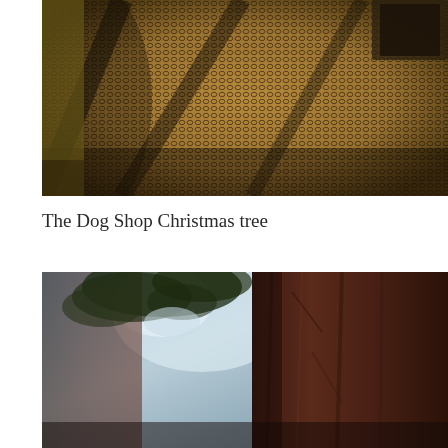[Figure (photo): Close-up of a metal mesh/wire screen or fireplace screen with a hexagonal pattern, against a warm yellowish-brown background. A dark frame or object is visible in the upper right corner.]
The Dog Shop Christmas tree
[Figure (photo): Looking up at a large tree trunk (appears to be a sequoia or redwood) with textured reddish-brown bark, with branches and sky visible above.]